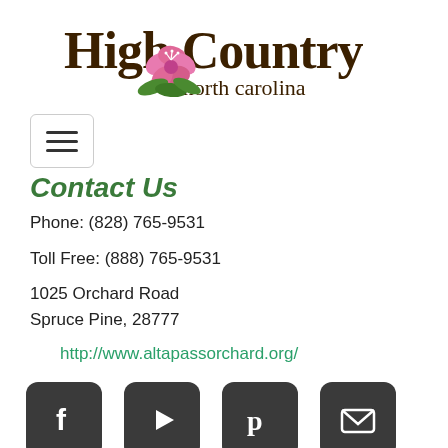[Figure (logo): High Country of north carolina logo with rhododendron flower]
[Figure (other): Hamburger menu button with three horizontal lines]
Contact Us
Phone: (828) 765-9531
Toll Free: (888) 765-9531
1025 Orchard Road
Spruce Pine, 28777
http://www.altapassorchard.org/
[Figure (other): Social media icons row: Facebook, YouTube, Pinterest, Email]